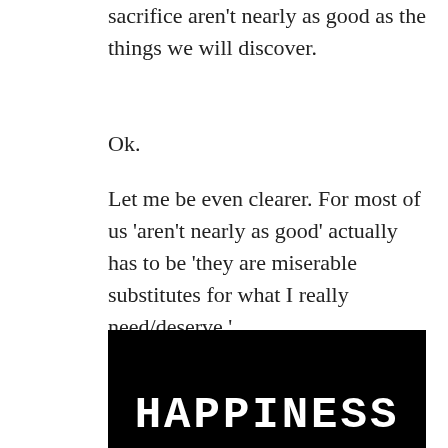sacrifice aren't nearly as good as the things we will discover.
Ok.
Let me be even clearer. For most of us 'aren't nearly as good' actually has to be 'they are miserable substitutes for what I really need/deserve.'
[Figure (photo): Black background image with white text reading 'HAPPINESS' in bold monospaced letters, partially cropped at bottom]